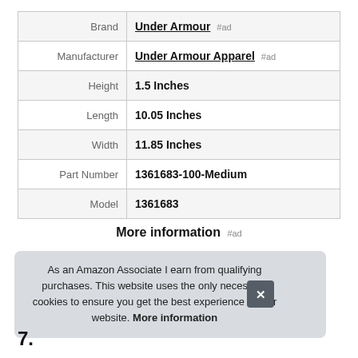| Attribute | Value |
| --- | --- |
| Brand | Under Armour #ad |
| Manufacturer | Under Armour Apparel #ad |
| Height | 1.5 Inches |
| Length | 10.05 Inches |
| Width | 11.85 Inches |
| Part Number | 1361683-100-Medium |
| Model | 1361683 |
More information #ad
As an Amazon Associate I earn from qualifying purchases. This website uses the only necessary cookies to ensure you get the best experience on our website. More information